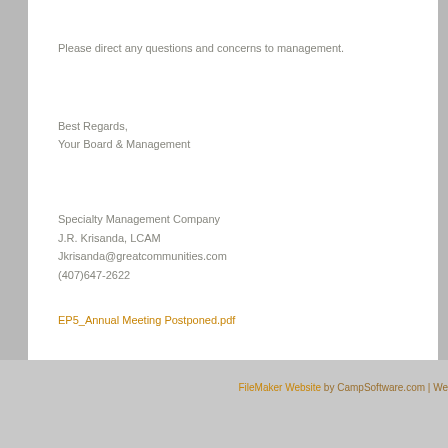Please direct any questions and concerns to management.
Best Regards,
Your Board & Management
Specialty Management Company
J.R. Krisanda, LCAM
Jkrisanda@greatcommunities.com
(407)647-2622
EP5_Annual Meeting Postponed.pdf
FileMaker Website by CampSoftware.com | We